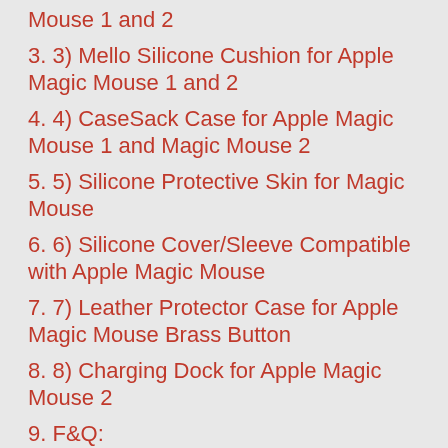Mouse 1 and 2
3. 3) Mello Silicone Cushion for Apple Magic Mouse 1 and 2
4. 4) CaseSack Case for Apple Magic Mouse 1 and Magic Mouse 2
5. 5) Silicone Protective Skin for Magic Mouse
6. 6) Silicone Cover/Sleeve Compatible with Apple Magic Mouse
7. 7) Leather Protector Case for Apple Magic Mouse Brass Button
8. 8) Charging Dock for Apple Magic Mouse 2
9. F&Q: